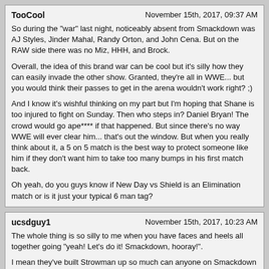TooCool | November 15th, 2017, 09:37 AM

So during the "war" last night, noticeably absent from Smackdown was AJ Styles, Jinder Mahal, Randy Orton, and John Cena. But on the RAW side there was no Miz, HHH, and Brock.

Overall, the idea of this brand war can be cool but it's silly how they can easily invade the other show. Granted, they're all in WWE... but you would think their passes to get in the arena wouldn't work right? ;)

And I know it's wishful thinking on my part but I'm hoping that Shane is too injured to fight on Sunday. Then who steps in? Daniel Bryan! The crowd would go ape**** if that happened. But since there's no way WWE will ever clear him... that's out the window. But when you really think about it, a 5 on 5 match is the best way to protect someone like him if they don't want him to take too many bumps in his first match back.

Oh yeah, do you guys know if New Day vs Shield is an Elimination match or is it just your typical 6 man tag?
ucsdguy1 | November 15th, 2017, 10:23 AM

The whole thing is so silly to me when you have faces and heels all together going "yeah! Let's do it! Smackdown, hooray!".

I mean they've built Strowman up so much can anyone on Smackdown stop him? Which probably means someone else gets involved or it will become a 4 on 1 scenario. I did like Angle however walking out and just going "yep, go get em braun".

Bryan doing the impression of Paul Heyman was fantastic. Bryan's little tiff with Shane about having to have a "conversation" definitley hints at something. Bryan vs. Shane at Wrestlemania? :)

PS. don't try and interrupt Heyman's promo with your marriage proposal